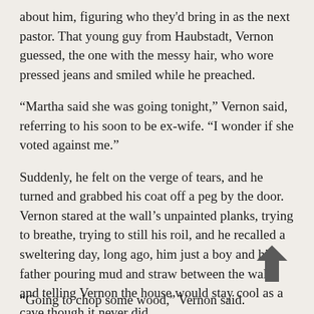about him, figuring who they'd bring in as the next pastor. That young guy from Haubstadt, Vernon guessed, the one with the messy hair, who wore pressed jeans and smiled while he preached.
“Martha said she was going tonight,” Vernon said, referring to his soon to be ex-wife. “I wonder if she voted against me.”
Suddenly, he felt on the verge of tears, and he turned and grabbed his coat off a peg by the door. Vernon stared at the wall’s unpainted planks, trying to breathe, trying to still his roil, and he recalled a sweltering day, long ago, him just a boy and his father pouring mud and straw between the walls and telling Vernon the house would stay cool as a cave though it never did.
[Figure (other): Up arrow navigation icon]
“Going to chop some wood,” Vernon said.